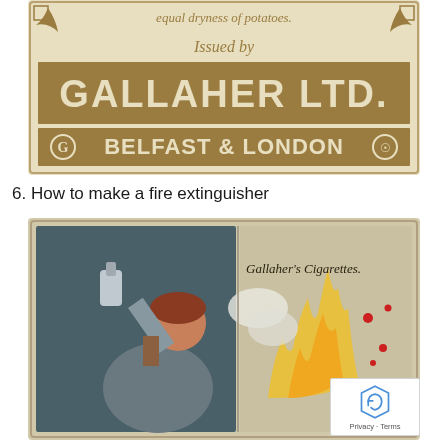[Figure (photo): Vintage cigarette card back showing text 'equal dryness of potatoes. Issued by GALLAHER LTD. BELFAST & LONDON' with decorative border in brown/tan tones]
6. How to make a fire extinguisher
[Figure (photo): Vintage Gallaher's Cigarettes card illustration showing a person holding up a bottle/extinguisher toward flames, with text 'Gallaher's Cigarettes' visible on the card]